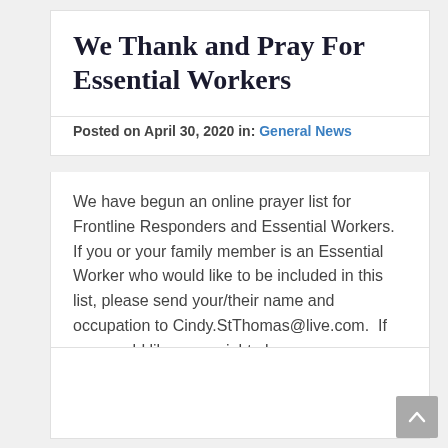We Thank and Pray For Essential Workers
Posted on April 30, 2020 in: General News
We have begun an online prayer list for Frontline Responders and Essential Workers.  If you or your family member is an Essential Worker who would like to be included in this list, please send your/their name and occupation to Cindy.StThomas@live.com.  If you would like, you might also sen…
Read More >